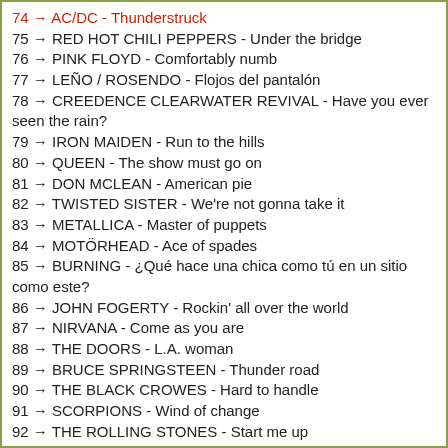74 → AC/DC - Thunderstruck
75 → RED HOT CHILI PEPPERS - Under the bridge
76 → PINK FLOYD - Comfortably numb
77 → LEÑO / ROSENDO - Flojos del pantalón
78 → CREEDENCE CLEARWATER REVIVAL - Have you ever seen the rain?
79 → IRON MAIDEN - Run to the hills
80 → QUEEN - The show must go on
81 → DON MCLEAN - American pie
82 → TWISTED SISTER - We're not gonna take it
83 → METALLICA - Master of puppets
84 → MOTÖRHEAD - Ace of spades
85 → BURNING - ¿Qué hace una chica como tú en un sitio como este?
86 → JOHN FOGERTY - Rockin' all over the world
87 → NIRVANA - Come as you are
88 → THE DOORS - L.A. woman
89 → BRUCE SPRINGSTEEN - Thunder road
90 → THE BLACK CROWES - Hard to handle
91 → SCORPIONS - Wind of change
92 → THE ROLLING STONES - Start me up
93 → THE CLASH - London calling